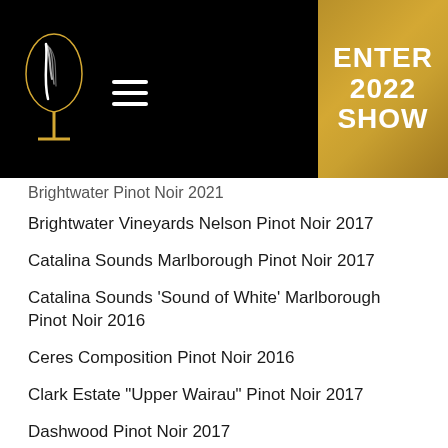ENTER 2022 SHOW
Brightwater Vineyards Nelson Pinot Noir 2017
Catalina Sounds Marlborough Pinot Noir 2017
Catalina Sounds 'Sound of White' Marlborough Pinot Noir 2016
Ceres Composition Pinot Noir 2016
Clark Estate "Upper Wairau" Pinot Noir 2017
Dashwood Pinot Noir 2017
Davishon Pinot Noir 2015
Delta Hatter's Hill Pinot Noir 2017
Delta Pinot Noir 2017
Devils Backbone Pinot Noir 2017